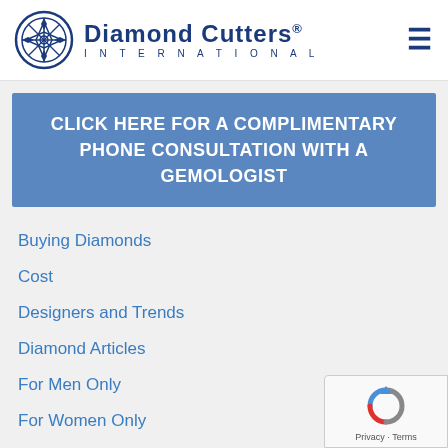[Figure (logo): Diamond Cutters International logo with circular ornate icon and text]
CLICK HERE FOR A COMPLIMENTARY PHONE CONSULTATION WITH A GEMOLOGIST
Buying Diamonds
Cost
Designers and Trends
Diamond Articles
For Men Only
For Women Only
General
Inclusions & Blemishes